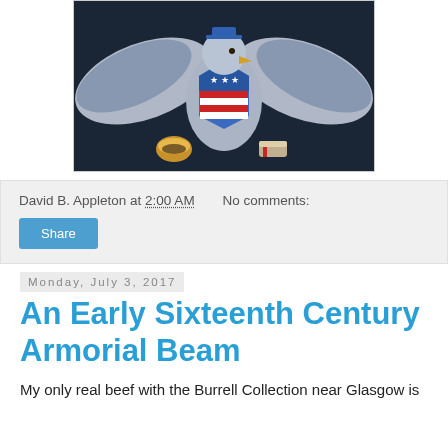[Figure (illustration): An eagle with spread wings holding a taco in one talon and what appears to be a hot dog or sausage in the other, with an American flag shield on its chest, on a dark navy background.]
David B. Appleton at 2:00 AM   No comments:
Share
Monday, July 3, 2017
An Early Sixteenth Century Armorial Beam
My only real beef with the Burrell Collection near Glasgow is